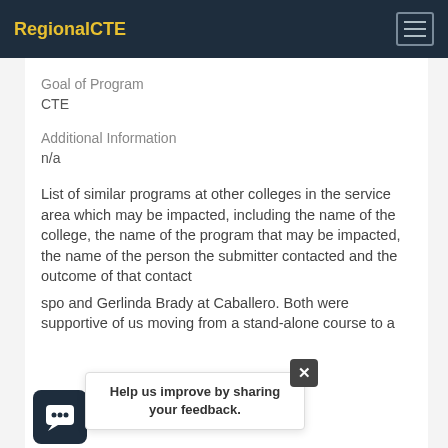RegionalCTE
Goal of Program
CTE
Additional Information
n/a
List of similar programs at other colleges in the service area which may be impacted, including the name of the college, the name of the program that may be impacted, the name of the person the submitter contacted and the outcome of that contact
spo [partially obscured] and Gerlinda Brady at Caballero. Both were supportive of us moving from a stand-alone course to a